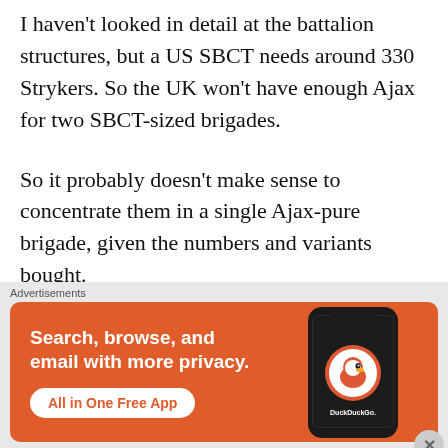I haven't looked in detail at the battalion structures, but a US SBCT needs around 330 Strykers. So the UK won't have enough Ajax for two SBCT-sized brigades.
So it probably doesn't make sense to concentrate them in a single Ajax-pure brigade, given the numbers and variants bought.
Maybe instead, the UK could just create a number of battalion-sized task forces/battle
Advertisements
[Figure (infographic): DuckDuckGo advertisement banner: orange background with white bold text 'Search, browse, and email with more privacy.' and a white button 'All in One Free App' with a phone mockup showing the DuckDuckGo logo on the right side.]